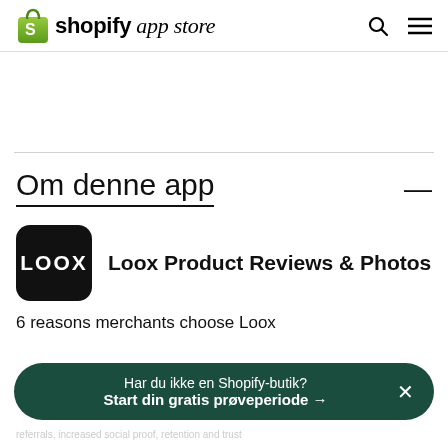shopify app store
Om denne app
[Figure (logo): Loox app logo — black rounded square with white LOOX text]
Loox Product Reviews & Photos
6 reasons merchants choose Loox
Har du ikke en Shopify-butik? Start din gratis prøveperiode →